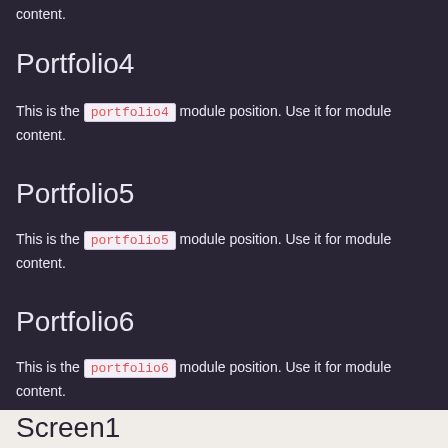content.
Portfolio4
This is the portfolio4 module position. Use it for module content.
Portfolio5
This is the portfolio5 module position. Use it for module content.
Portfolio6
This is the portfolio6 module position. Use it for module content.
Screen1